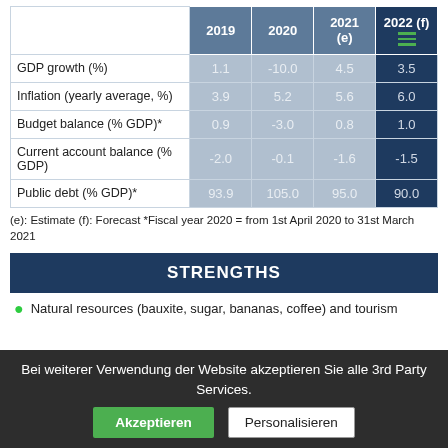|  | 2019 | 2020 | 2021 (e) | 2022 (f) |
| --- | --- | --- | --- | --- |
| GDP growth (%) | 1.1 | -10.0 | 4.5 | 3.5 |
| Inflation (yearly average, %) | 3.9 | 5.2 | 5.6 | 6.0 |
| Budget balance (% GDP)* | 0.9 | -3.0 | 0.8 | 1.0 |
| Current account balance (% GDP) | -2.0 | -0.1 | -1.6 | -1.5 |
| Public debt (% GDP)* | 93.9 | 105.0 | 95.0 | 90.0 |
(e): Estimate (f): Forecast *Fiscal year 2020 = from 1st April 2020 to 31st March 2021
STRENGTHS
Natural resources (bauxite, sugar, bananas, coffee) and tourism